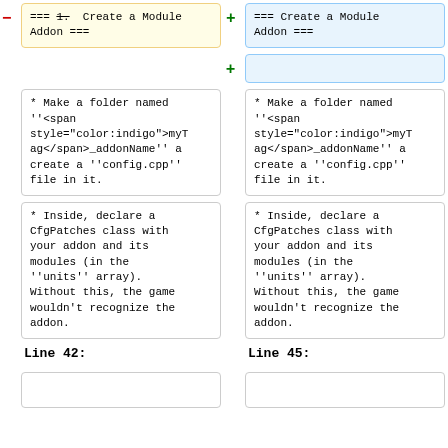- === 1. Create a Module Addon ===
+ === Create a Module Addon ===
+ (empty line)
* Make a folder named ''<span style="color:indigo">myTag</span>_addonName'' a create a ''config.cpp'' file in it.
* Make a folder named ''<span style="color:indigo">myTag</span>_addonName'' a create a ''config.cpp'' file in it.
* Inside, declare a CfgPatches class with your addon and its modules (in the ''units'' array). Without this, the game wouldn't recognize the addon.
* Inside, declare a CfgPatches class with your addon and its modules (in the ''units'' array). Without this, the game wouldn't recognize the addon.
Line 42:
Line 45: